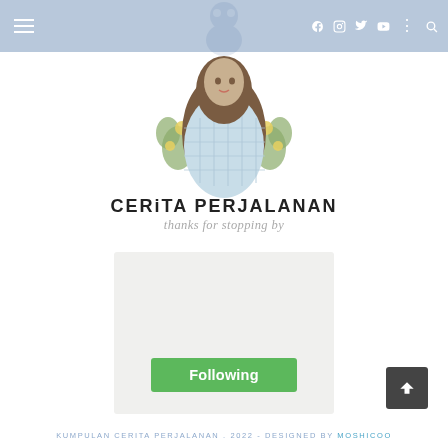Navigation header with hamburger menu, social icons (Facebook, Instagram, Twitter, YouTube), and search icon
[Figure (illustration): Illustrated avatar of a person in a light blue quilted jacket with floral decoration around them, viewed from torso up]
CERITA PERJALANAN
thanks for stopping by
[Figure (screenshot): WordPress Follow widget box with a green 'Following' button]
KUMPULAN CERITA PERJALANAN . 2022 - DESIGNED BY MOSHICOO